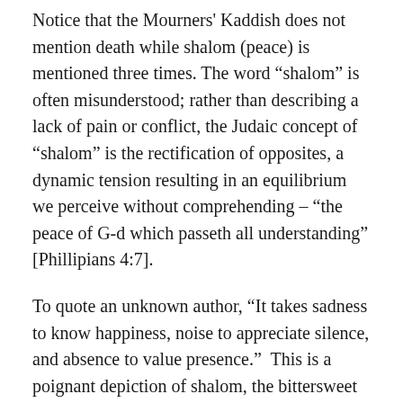Notice that the Mourners' Kaddish does not mention death while shalom (peace) is mentioned three times. The word “shalom” is often misunderstood; rather than describing a lack of pain or conflict, the Judaic concept of “shalom” is the rectification of opposites, a dynamic tension resulting in an equilibrium we perceive without comprehending – “the peace of G-d which passeth all understanding” [Phillipians 4:7].
To quote an unknown author, “It takes sadness to know happiness, noise to appreciate silence, and absence to value presence.”  This is a poignant depiction of shalom, the bittersweet mix of conflicting emotions we experience when a loved one passes away.  We grieve because we love.  The initial collision of emotions transforms over time as the veritable tsunami of grief gradually gives way over the years to occasional waves